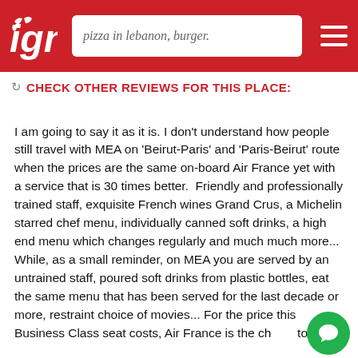[Figure (screenshot): Red header bar with white dog/animal logo on left, search box with text 'pizza in lebanon, burger.' in center, and hamburger menu icon on right]
CHECK OTHER REVIEWS FOR THIS PLACE:
I am going to say it as it is. I don't understand how people still travel with MEA on 'Beirut-Paris' and 'Paris-Beirut' route when the prices are the same on-board Air France yet with a service that is 30 times better.  Friendly and professionally trained staff, exquisite French wines Grand Crus, a Michelin starred chef menu, individually canned soft drinks, a high end menu which changes regularly and much much more... While, as a small reminder, on MEA you are served by an untrained staff, poured soft drinks from plastic bottles, eat the same menu that has been served for the last decade or more, restraint choice of movies... For the price this Business Class seat costs, Air France is the choice to take.